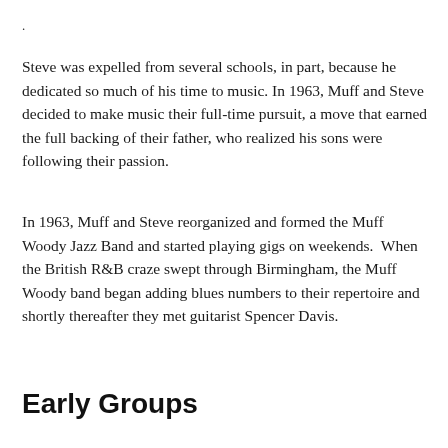.
Steve was expelled from several schools, in part, because he dedicated so much of his time to music. In 1963, Muff and Steve decided to make music their full-time pursuit, a move that earned the full backing of their father, who realized his sons were following their passion.
In 1963, Muff and Steve reorganized and formed the Muff Woody Jazz Band and started playing gigs on weekends.  When the British R&B craze swept through Birmingham, the Muff Woody band began adding blues numbers to their repertoire and shortly thereafter they met guitarist Spencer Davis.
Early Groups